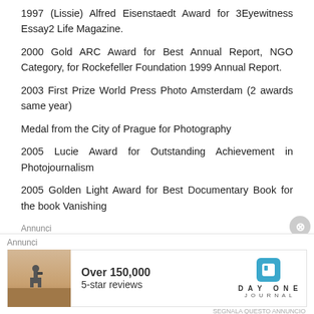1997 (Lissie) Alfred Eisenstaedt Award for 3Eyewitness Essay2 Life Magazine.
2000 Gold ARC Award for Best Annual Report, NGO Category, for Rockefeller Foundation 1999 Annual Report.
2003 First Prize World Press Photo Amsterdam (2 awards same year)
Medal from the City of Prague for Photography
2005 Lucie Award for Outstanding Achievement in Photojournalism
2005 Golden Light Award for Best Documentary Book for the book Vanishing
Annunci
[Figure (photo): Advertisement banner at bottom: shows a person photographing a landscape with text 'Over 150,000 5-star reviews' and Day One Journal logo]
Annunci